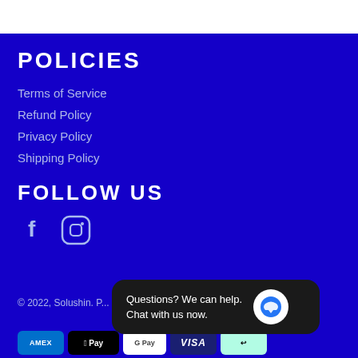POLICIES
Terms of Service
Refund Policy
Privacy Policy
Shipping Policy
FOLLOW US
[Figure (infographic): Facebook and Instagram social media icons in white on blue background]
© 2022, Solushin. P...
[Figure (infographic): Payment method badges: Amex, Apple Pay, Google Pay, Visa, Afterpay]
Questions? We can help. Chat with us now.